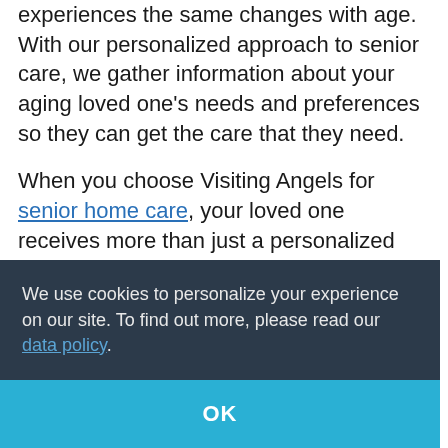experiences the same changes with age. With our personalized approach to senior care, we gather information about your aging loved one's needs and preferences so they can get the care that they need.
When you choose Visiting Angels for senior home care, your loved one receives more than just a personalized care plan. Your senior loved one will receive a professional caregiver who will treat your loved one with the utmost [ost ... ve ... ing]
We use cookies to personalize your experience on our site. To find out more, please read our data policy.
OK
Personal Home Care